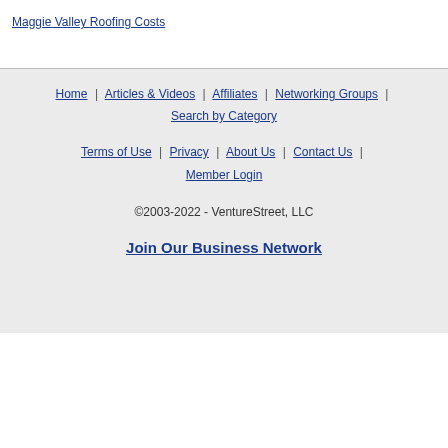Maggie Valley Roofing Costs
Home | Articles & Videos | Affiliates | Networking Groups | Search by Category
Terms of Use | Privacy | About Us | Contact Us | Member Login
©2003-2022 - VentureStreet, LLC
Join Our Business Network